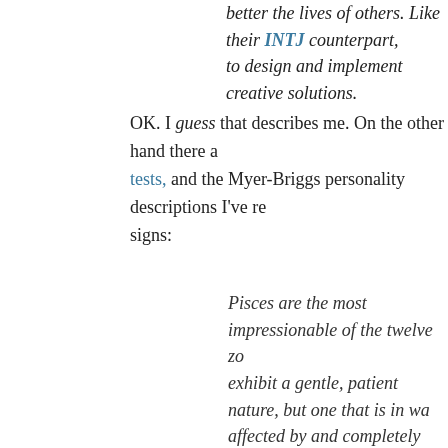better the lives of others. Like their INTJ counterpart, to design and implement creative solutions.
OK. I guess that describes me. On the other hand there are tests, and the Myer-Briggs personality descriptions I've read signs:
Pisces are the most impressionable of the twelve zo exhibit a gentle, patient nature, but one that is in wa affected by and completely absorbed into their enviro circumstances, both good and bad. They are genero deep sense of kindness and compassion. Pisces are including the feelings of others.
Posted by Nancy
Document Created On: undefined
Document Last Modified On: undefined
Newer Post ... Home